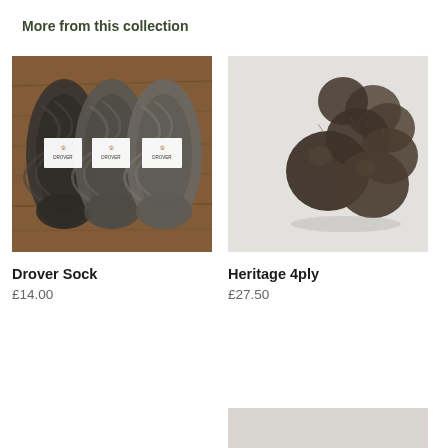More from this collection
[Figure (photo): Three twisted yarn skeins in dark charcoal and grey tones with white paper labels reading 'DROVER', laid on a wooden surface]
Drover Sock
£14.00
[Figure (photo): A dark brown fluffy yarn wound into a ball, photographed on a white/grey background]
Heritage 4ply
£27.50